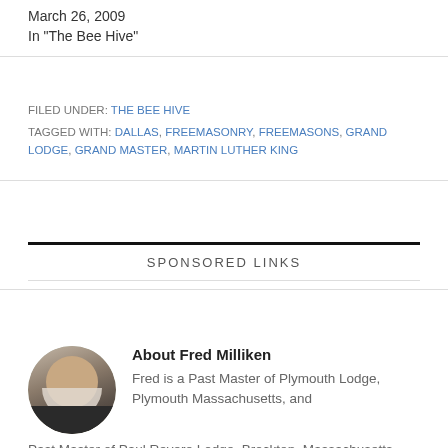March 26, 2009
In "The Bee Hive"
FILED UNDER: THE BEE HIVE
TAGGED WITH: DALLAS, FREEMASONRY, FREEMASONS, GRAND LODGE, GRAND MASTER, MARTIN LUTHER KING
SPONSORED LINKS
About Fred Milliken
Fred is a Past Master of Plymouth Lodge, Plymouth Massachusetts, and Past Master of Paul Revere Lodge, Brockton, Massachusetts. Presently, he is a member of Pride of